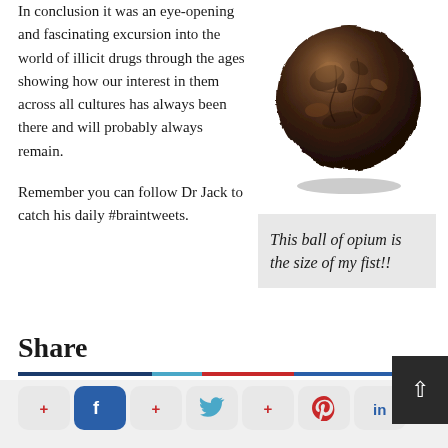In conclusion it was an eye-opening and fascinating excursion into the world of illicit drugs through the ages showing how our interest in them across all cultures has always been there and will probably always remain.

Remember you can follow Dr Jack to catch his daily #braintweets.
[Figure (photo): A round brownish-black ball of opium, roughly fist-sized, with a rough and cracked surface texture, photographed against a white background.]
This ball of opium is the size of my fist!!
Share
[Figure (infographic): A horizontal multicolored bar (dark blue, light blue, red, medium blue) acting as a divider, followed by a row of social media share buttons: Google+/Facebook, Twitter+/Pinterest/LinkedIn, and a back-to-top arrow button.]